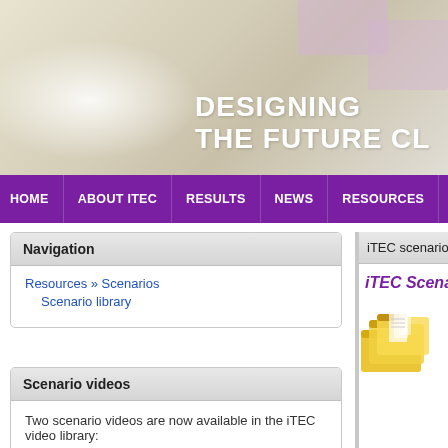[Figure (screenshot): iTEC website header banner with gradient tan/cream background, pink decorative rectangles top right, white radial glow left, and large white bold text reading DESIGNING THE FUTURE CL (cropped)]
DESIGNING THE FUTURE CL
HOME   ABOUT ITEC   RESULTS   NEWS   RESOURCES   COMMUN
Navigation
Resources » Scenarios
  Scenario library
Scenario videos
Two scenario videos are now available in the iTEC video library:
Outdoor Study Project
Recognizing Informal Learning
iTEC scenarios
iTEC Scenari
[Figure (illustration): Yellow/gold illustrated image of stacked folders and documents]